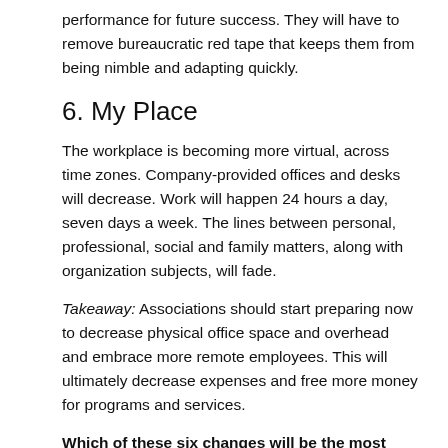performance for future success. They will have to remove bureaucratic red tape that keeps them from being nimble and adapting quickly.
6. My Place
The workplace is becoming more virtual, across time zones. Company-provided offices and desks will decrease. Work will happen 24 hours a day, seven days a week. The lines between personal, professional, social and family matters, along with organization subjects, will fade.
Takeaway: Associations should start preparing now to decrease physical office space and overhead and embrace more remote employees. This will ultimately decrease expenses and free more money for programs and services.
Which of these six changes will be the most difficult